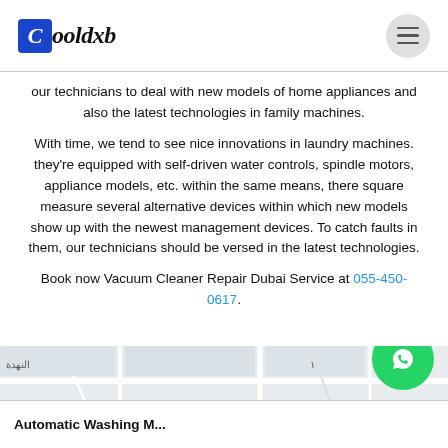Cooldxb
our technicians to deal with new models of home appliances and also the latest technologies in family machines.
With time, we tend to see nice innovations in laundry machines. they're equipped with self-driven water controls, spindle motors, appliance models, etc. within the same means, there square measure several alternative devices within which new models show up with the newest management devices. To catch faults in them, our technicians should be versed in the latest technologies.
Book now Vacuum Cleaner Repair Dubai Service at 055-450-0617.
[Figure (map): Google Maps embed showing Al Nahda area in Dubai with street layout. A popup label reads 'Automatic Washing M...' with Arabic text النهدة visible.]